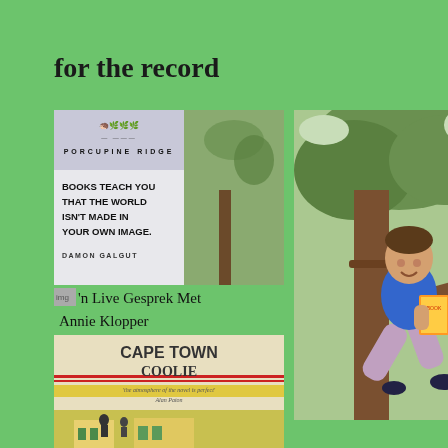for the record
[Figure (photo): Collage of book-related images: Porcupine Ridge quote image ('BOOKS TEACH YOU THAT THE WORLD ISN'T MADE IN YOUR OWN IMAGE.' — Damon Galgut), a tree/nature photo, text 'n Live Gesprek Met Annie Klopper, and Cape Town Coolie book cover]
[Figure (photo): Man in blue shirt sitting in a tree holding a colorful book, smiling]